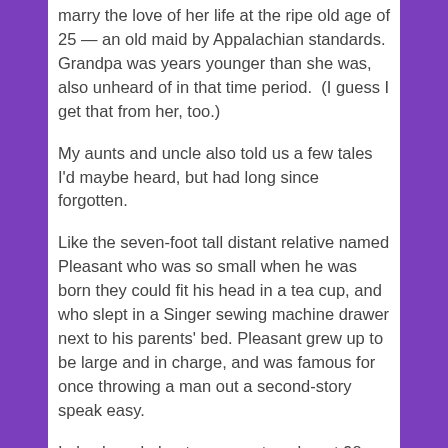marry the love of her life at the ripe old age of 25 — an old maid by Appalachian standards. Grandpa was years younger than she was, also unheard of in that time period.  (I guess I get that from her, too.)
My aunts and uncle also told us a few tales I'd maybe heard, but had long since forgotten.
Like the seven-foot tall distant relative named Pleasant who was so small when he was born they could fit his head in a tea cup, and who slept in a Singer sewing machine drawer next to his parents' bed. Pleasant grew up to be large and in charge, and was famous for once throwing a man out a second-story speak easy.
I also heard about an ancestor who, at 98-years young, could stand and do a somersault in the air.